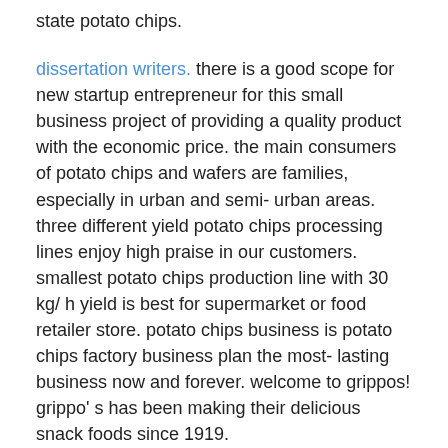state potato chips.
dissertation writers. there is a good scope for new startup entrepreneur for this small business project of providing a quality product with the economic price. the main consumers of potato chips and wafers are families, especially in urban and semi- urban areas. three different yield potato chips processing lines enjoy high praise in our customers. smallest potato chips production line with 30 kg/ h yield is best for supermarket or food retailer store. potato chips business is potato chips factory business plan the most- lasting business now and forever. welcome to grippos! grippo' s has been making their delicious snack foods since 1919.
there' s nothing plain about our potato chips. for a little more zip try our wavy salt & vinegar, wavy sour cream & onion, wavy sweet maui onion or wavy cheddar & horseradish flavored potato chips. we offer consultancy services for starting up your own potato chips & kurkure business. we provides complete guidance from product manufacturing to dispatch including establishing of manufacturing factory, procurement &